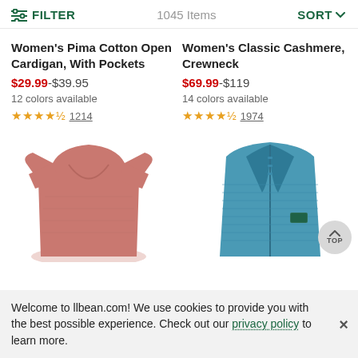FILTER  |  1045 Items  |  SORT
Women's Pima Cotton Open Cardigan, With Pockets
$29.99-$39.95
12 colors available
★★★★½ 1214
Women's Classic Cashmere, Crewneck
$69.99-$119
14 colors available
★★★★½ 1974
[Figure (photo): Pink women's short sleeve v-neck t-shirt]
[Figure (photo): Blue women's zip-up vest jacket]
Welcome to llbean.com! We use cookies to provide you with the best possible experience. Check out our privacy policy to learn more.